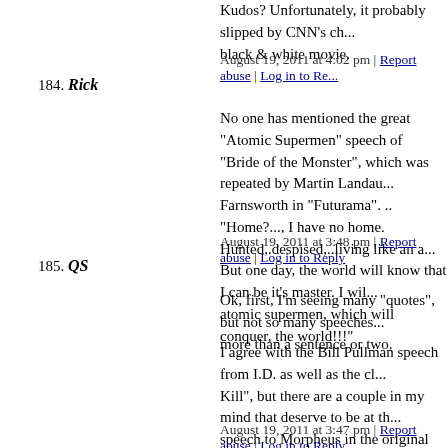Kudos? Unfortunately, it probably slipped by CNN's ch... black & white movie.
August 19, 2011 at 4:02 pm | Report abuse | Log in to Re...
184. Rick
No one has mentioned the great "Atomic Supermen" speech of "Bride of the Monster", which was repeated by Martin Landau... Farnsworth in "Futurama". .. "Home?..., I have no home. Hunted,.despised,..living like an a... But one day, the world will know that I can be it's master. I wil... atomic supermen, which will conquer, the world!!!"
August 19, 2011 at 3:48 pm | Report abuse | Log in to Reply
185. QS
Ok, first, I'm seeing many "quotes", but not so many speeches more than a sentence or two.
I agree with the Bill Pullman speech from I.D. as well as the cl... Kill", but there are a couple in my mind that deserve to be at th... speech to Morpheus in the original Matrix is one of the greates... Jackson's speech in Pulp Fiction (both of them really, at the be... up there!
August 19, 2011 at 3:47 pm | Report abuse | Log in to Reply